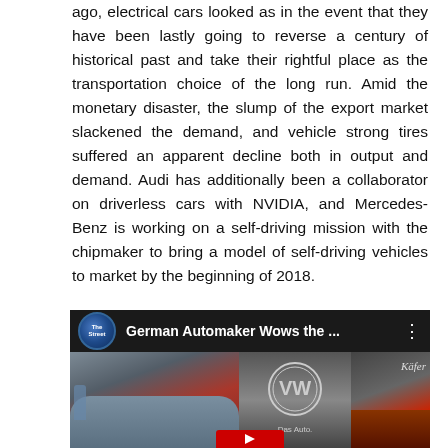ago, electrical cars looked as in the event that they have been lastly going to reverse a century of historical past and take their rightful place as the transportation choice of the long run. Amid the monetary disaster, the slump of the export market slackened the demand, and vehicle strong tires suffered an apparent decline both in output and demand. Audi has additionally been a collaborator on driverless cars with NVIDIA, and Mercedes-Benz is working on a self-driving mission with the chipmaker to bring a model of self-driving vehicles to market by the beginning of 2018.
[Figure (screenshot): YouTube video thumbnail for 'German Automaker Wows the ...' by TheStreet channel. Shows a split three-panel image of car show scenes with a Volkswagen logo in the center panel. A red YouTube play button is visible at the bottom.]